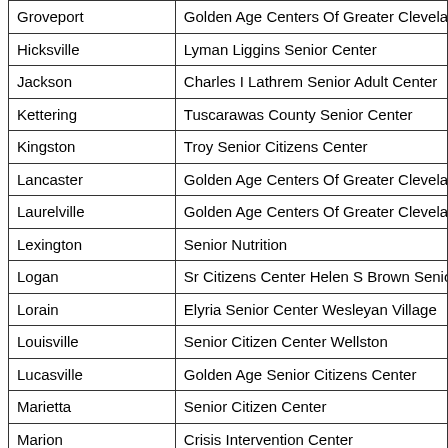| City | Center Name |
| --- | --- |
| Groveport | Golden Age Centers Of Greater Cleveland |
| Hicksville | Lyman Liggins Senior Center |
| Jackson | Charles I Lathrem Senior Adult Center |
| Kettering | Tuscarawas County Senior Center |
| Kingston | Troy Senior Citizens Center |
| Lancaster | Golden Age Centers Of Greater Cleveland |
| Laurelville | Golden Age Centers Of Greater Cleveland |
| Lexington | Senior Nutrition |
| Logan | Sr Citizens Center Helen S Brown Senior |
| Lorain | Elyria Senior Center Wesleyan Village |
| Louisville | Senior Citizen Center Wellston |
| Lucasville | Golden Age Senior Citizens Center |
| Marietta | Senior Citizen Center |
| Marion | Crisis Intervention Center |
| Martins Ferry | Lexington Senior Civic Center |
| Marysville | Golden Age Centers Of Greater Cleveland |
| Massillon | Senior Citizens Center |
| Maumee | North Baltimore Senior Center |